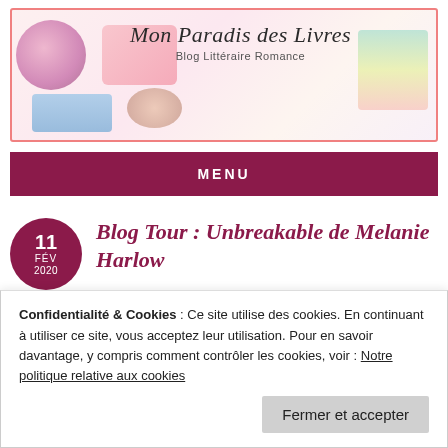[Figure (illustration): Blog header banner with decorative illustration of flowers, pastel books, laptop, macarons, and stacked books. Overlaid text reads 'Mon Paradis des Livres' and 'Blog Littéraire Romance'.]
MENU
Blog Tour : Unbreakable de Melanie Harlow
Confidentialité & Cookies : Ce site utilise des cookies. En continuant à utiliser ce site, vous acceptez leur utilisation. Pour en savoir davantage, y compris comment contrôler les cookies, voir : Notre politique relative aux cookies
Fermer et accepter